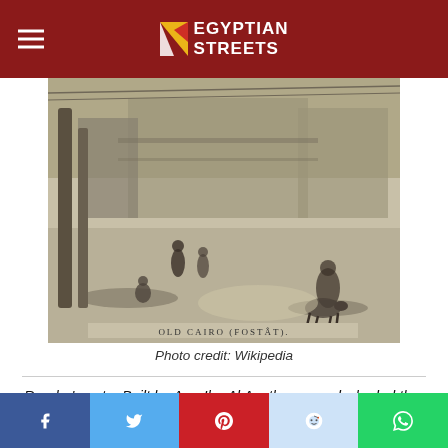Egyptian Streets
[Figure (photo): Black and white historical engraving of Old Cairo (Fostat), showing a street scene with figures and an animal, captioned 'OLD CAIRO (FOSTÂT).']
Photo credit: Wikipedia
Reader's note: Built by Amr Ibn Al As, the general who led the Muslim conquest of Egypt between 639 and 646 AD, Al Fustat was the first capital of Egypt under Islamic rule. It is located in Old Cairo.